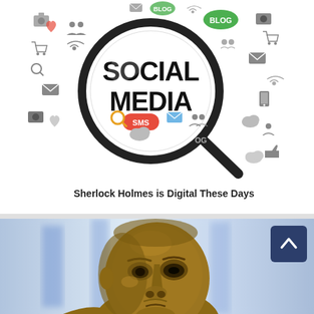[Figure (illustration): Social media concept illustration showing a large magnifying glass with 'SOCIAL MEDIA' text inside, surrounded by social media icons (blog, SMS, email, hearts, cameras, shopping carts, clouds, etc.) in grey, blue, green, orange, and red colors.]
Sherlock Holmes is Digital These Days
[Figure (photo): Close-up photograph of a bronze/metallic statue face, showing detailed facial features with a serious expression, against a blurred blue and white background.]